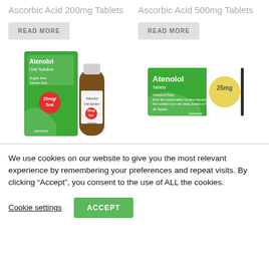Ascorbic Acid 200mg Tablets
Ascorbic Acid 500mg Tablets
READ MORE
READ MORE
[Figure (photo): Atenolol Oral Solution 25mg/5ml with green box packaging and brown glass bottle, Crescent brand]
[Figure (photo): Atenolol 25mg Tablets green box packaging with yellow circle showing dosage, Crescent brand]
We use cookies on our website to give you the most relevant experience by remembering your preferences and repeat visits. By clicking “Accept”, you consent to the use of ALL the cookies.
Cookie settings
ACCEPT